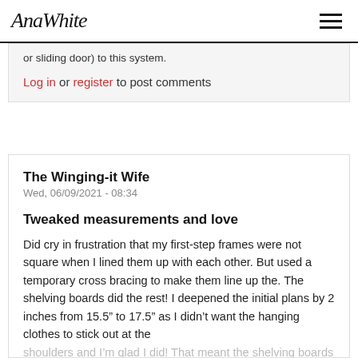AnaWhite
or sliding door) to this system.
Log in or register to post comments
The Winging-it Wife
Wed, 06/09/2021 - 08:34
Tweaked measurements and love
Did cry in frustration that my first-step frames were not square when I lined them up with each other. But used a temporary cross bracing to make them line up the. The shelving boards did the rest! I deepened the initial plans by 2 inches from 15.5” to 17.5” as I didn’t want the hanging clothes to stick out at the shoulders and I’m glad I did! That meant the shelving boards had about a 1 1/8" space in between. The